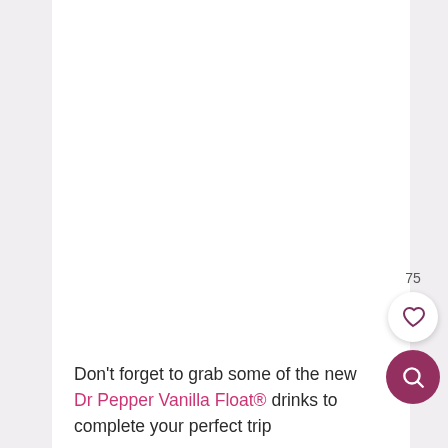[Figure (screenshot): Mobile app screenshot showing a white card area with a like/heart button (circle with heart icon) and a search button (pink circle with magnifying glass icon), with the number 75 displayed above the heart button.]
Don't forget to grab some of the new Dr Pepper Vanilla Float® drinks to complete your perfect trip